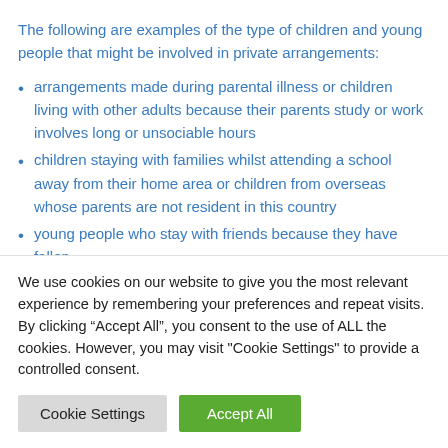The following are examples of the type of children and young people that might be involved in private arrangements:
arrangements made during parental illness or children living with other adults because their parents study or work involves long or unsociable hours
children staying with families whilst attending a school away from their home area or children from overseas whose parents are not resident in this country
young people who stay with friends because they have fallen
We use cookies on our website to give you the most relevant experience by remembering your preferences and repeat visits. By clicking "Accept All", you consent to the use of ALL the cookies. However, you may visit "Cookie Settings" to provide a controlled consent.